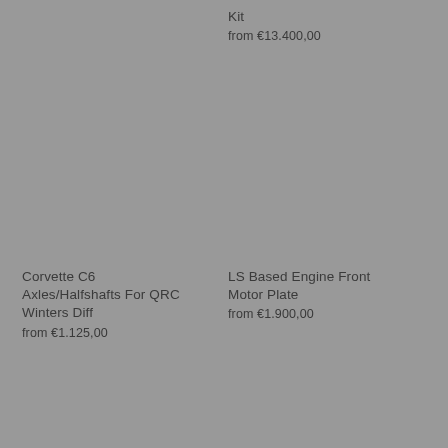Kit
from €13.400,00
Corvette C6 Axles/Halfshafts For QRC Winters Diff
from €1.125,00
LS Based Engine Front Motor Plate
from €1.900,00